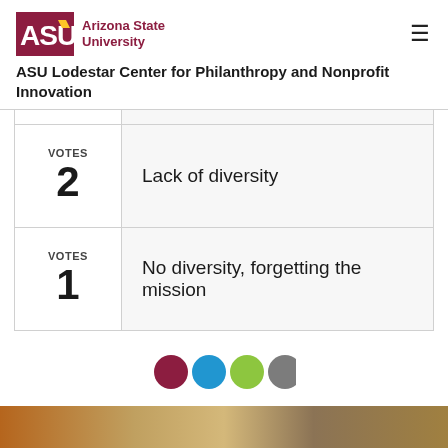ASU Arizona State University
ASU Lodestar Center for Philanthropy and Nonprofit Innovation
| Votes | Response |
| --- | --- |
| VOTES 2 | Lack of diversity |
| VOTES 1 | No diversity, forgetting the mission |
[Figure (infographic): Four colored navigation dots: dark red/maroon, blue, green, gray]